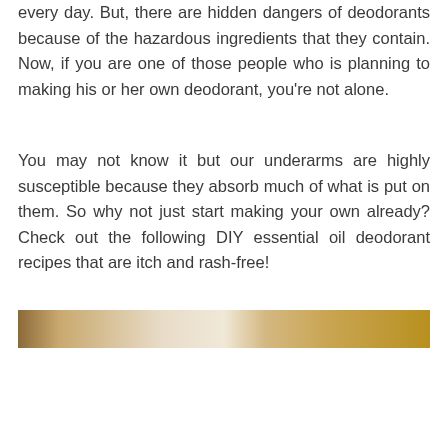every day. But, there are hidden dangers of deodorants because of the hazardous ingredients that they contain. Now, if you are one of those people who is planning to making his or her own deodorant, you're not alone.
You may not know it but our underarms are highly susceptible because they absorb much of what is put on them. So why not just start making your own already? Check out the following DIY essential oil deodorant recipes that are itch and rash-free!
[Figure (photo): A horizontal strip image showing what appears to be a deodorant or cosmetic product with golden/beige tones, partially visible at the top of the image section.]